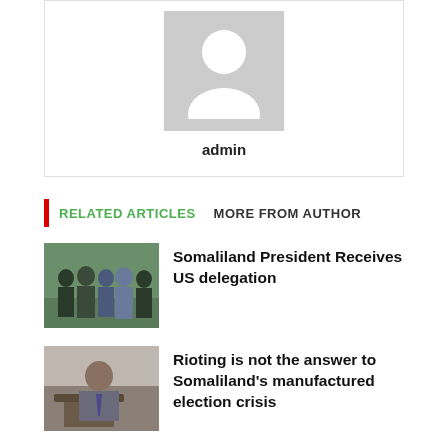[Figure (illustration): Gray placeholder avatar icon showing a silhouette of a person]
admin
RELATED ARTICLES   MORE FROM AUTHOR
[Figure (photo): Photo of people greeting, Somaliland President meets US delegation]
Somaliland President Receives US delegation
[Figure (photo): Photo of a man in a suit sitting at a desk]
Rioting is not the answer to Somaliland's manufactured election crisis
[Figure (photo): Photo partially shown at the bottom]
Armed militants from Mogadishu